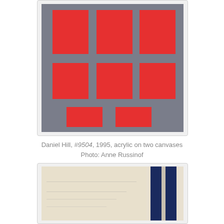[Figure (photo): Abstract painting by Daniel Hill showing a grid of red rectangles on a gray background, acrylic on two canvases, 1995]
Daniel Hill, #9504, 1995, acrylic on two canvases
Photo: Anne Russinof
[Figure (photo): Partial view of another artwork showing a textured off-white/cream surface with dark navy blue vertical stripes on the right side]